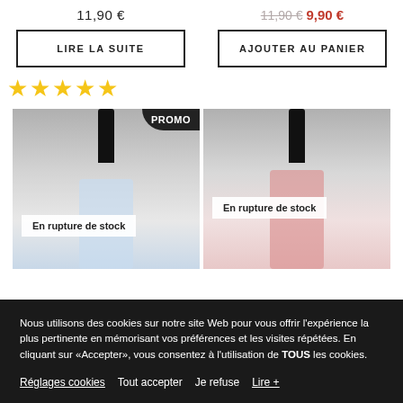11,90 €
11,90 € 9,90 €
LIRE LA SUITE
AJOUTER AU PANIER
[Figure (other): Five gold star rating icons]
[Figure (photo): Product bottle with PROMO badge and En rupture de stock label]
[Figure (photo): Product bottle with En rupture de stock label]
Nous utilisons des cookies sur notre site Web pour vous offrir l'expérience la plus pertinente en mémorisant vos préférences et les visites répétées. En cliquant sur «Accepter», vous consentez à l'utilisation de TOUS les cookies.
Réglages cookies Tout accepter Je refuse Lire +